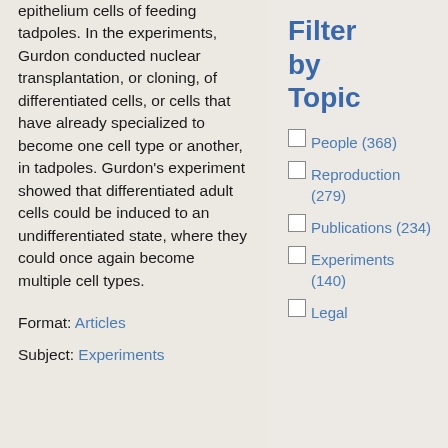epithelium cells of feeding tadpoles. In the experiments, Gurdon conducted nuclear transplantation, or cloning, of differentiated cells, or cells that have already specialized to become one cell type or another, in tadpoles. Gurdon's experiment showed that differentiated adult cells could be induced to an undifferentiated state, where they could once again become multiple cell types.
Format: Articles
Subject: Experiments
Filter by Topic
People (368)
Reproduction (279)
Publications (234)
Experiments (140)
Legal